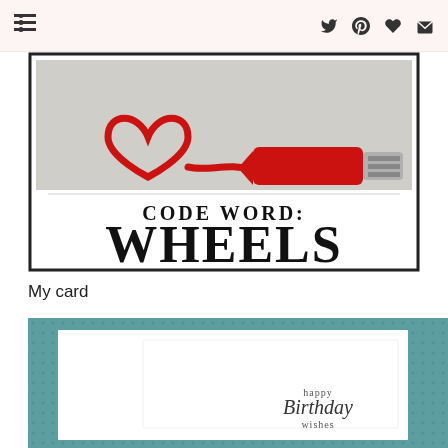menu | twitter | pinterest | heart | email
[Figure (illustration): Card design with a red paint tube squeezing out a red heart shape, text reads CODE WORD: WHEELS in bold serif letters on white background with black border]
My card
[Figure (photo): Birthday card on teal dotted background, white card with 'happy Birthday wishes' text in script font]